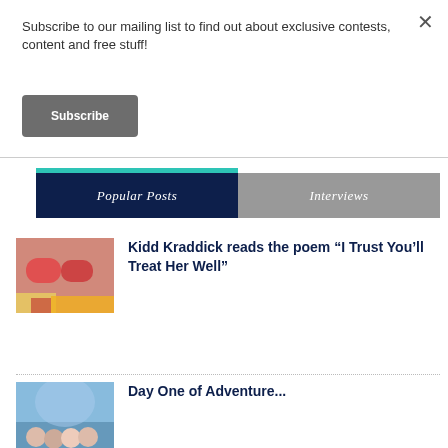Subscribe to our mailing list to find out about exclusive contests, content and free stuff!
Subscribe
Popular Posts
Interviews
[Figure (photo): Red sneakers on colorful background]
Kidd Kraddick reads the poem “I Trust You’ll Treat Her Well”
[Figure (photo): Group of people at outdoor event]
Day One of Adventure...